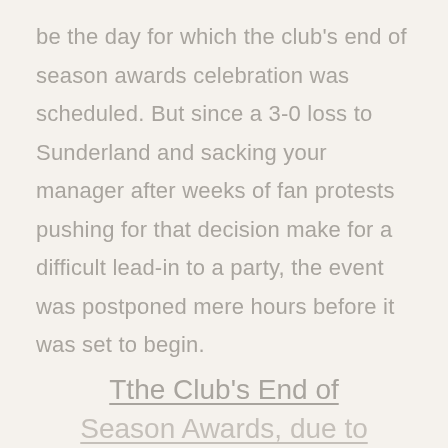be the day for which the club's end of season awards celebration was scheduled. But since a 3-0 loss to Sunderland and sacking your manager after weeks of fan protests pushing for that decision make for a difficult lead-in to a party, the event was postponed mere hours before it was set to begin.
Tthe Club's End of Season Awards, due to